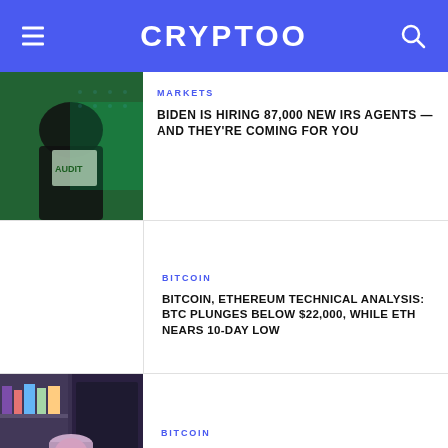CRYPTOO
MARKETS
BIDEN IS HIRING 87,000 NEW IRS AGENTS — AND THEY'RE COMING FOR YOU
[Figure (photo): Person in dark jacket holding a newspaper with 'AUDIT' visible, green-tinted background]
BITCOIN
BITCOIN, ETHEREUM TECHNICAL ANALYSIS: BTC PLUNGES BELOW $22,000, WHILE ETH NEARS 10-DAY LOW
BITCOIN
SBI LOST 49% OF HASH RATE AFTER
[Figure (illustration): Cartoon/illustration of a person wearing a hard hat, set against a dark background with shelves]